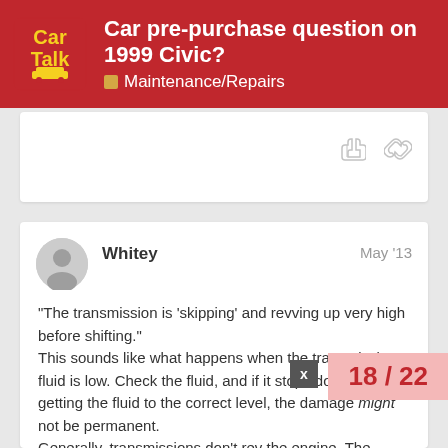Car pre-purchase question on 1999 Civic? — Maintenance/Repairs
“The transmission is ‘skipping’ and revving up very high before shifting.”
This sounds like what happens when the transmission fluid is low. Check the fluid, and if it stops doing it after getting the fluid to the correct level, the damage might not be permanent.
Generally, transmissions don’t rev the engine. The driver has to do that, and recommends, that you seems to miss the next gear, that yo...